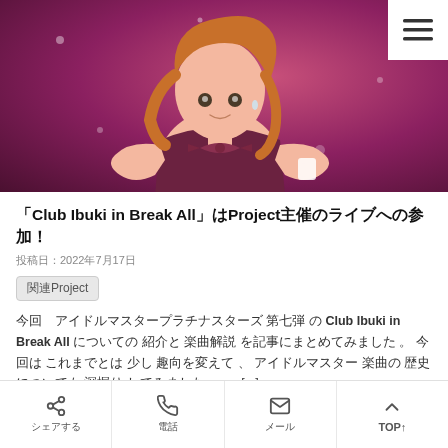[Figure (illustration): Anime character with orange hair wearing a maroon/dark pink outfit with a bow, holding something white, purple/magenta background with sparkles]
「Club Ibuki in Break All」はProject主催のライブへの参加！
投稿日：2022年7月17日
関連Project
今回　アイドルマスタープラチナスターズ 第七弾 の Club Ibuki in Break All についての 紹介と 楽曲解説 を記事にまとめてみました 。 今回は これまでとは 少し 趣向を変えて 、 アイドルマスター 楽曲の 歴史についても 深掘り してみました 。 。 [...]
続きを読む
Tweet
0
B! 0
シェアする　　電話　　　メール　　　TOP↑